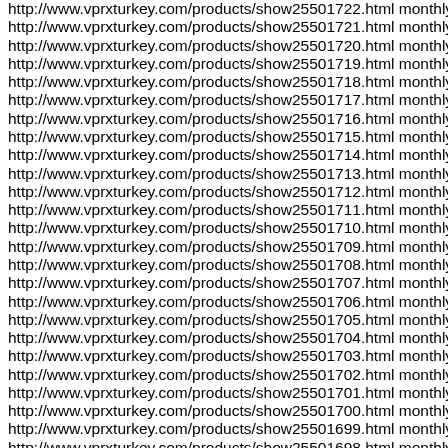http://www.vprxturkey.com/products/show25501722.html monthly
http://www.vprxturkey.com/products/show25501721.html monthly
http://www.vprxturkey.com/products/show25501720.html monthly
http://www.vprxturkey.com/products/show25501719.html monthly
http://www.vprxturkey.com/products/show25501718.html monthly
http://www.vprxturkey.com/products/show25501717.html monthly
http://www.vprxturkey.com/products/show25501716.html monthly
http://www.vprxturkey.com/products/show25501715.html monthly
http://www.vprxturkey.com/products/show25501714.html monthly
http://www.vprxturkey.com/products/show25501713.html monthly
http://www.vprxturkey.com/products/show25501712.html monthly
http://www.vprxturkey.com/products/show25501711.html monthly
http://www.vprxturkey.com/products/show25501710.html monthly
http://www.vprxturkey.com/products/show25501709.html monthly
http://www.vprxturkey.com/products/show25501708.html monthly
http://www.vprxturkey.com/products/show25501707.html monthly
http://www.vprxturkey.com/products/show25501706.html monthly
http://www.vprxturkey.com/products/show25501705.html monthly
http://www.vprxturkey.com/products/show25501704.html monthly
http://www.vprxturkey.com/products/show25501703.html monthly
http://www.vprxturkey.com/products/show25501702.html monthly
http://www.vprxturkey.com/products/show25501701.html monthly
http://www.vprxturkey.com/products/show25501700.html monthly
http://www.vprxturkey.com/products/show25501699.html monthly
http://www.vprxturkey.com/products/show25501698.html monthly
http://www.vprxturkey.com/products/show25501697.html monthly